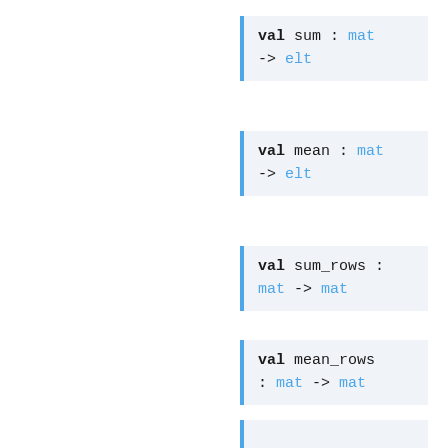val sum : mat -> elt
val mean : mat -> elt
val sum_rows : mat -> mat
val sum_cols : mat -> mat
val mean_rows : mat -> mat